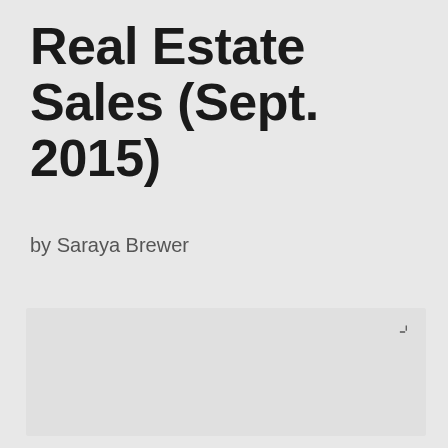Real Estate Sales (Sept. 2015)
by Saraya Brewer
[Figure (other): Large empty/placeholder image area with light gray background and expand icon in top-right corner]